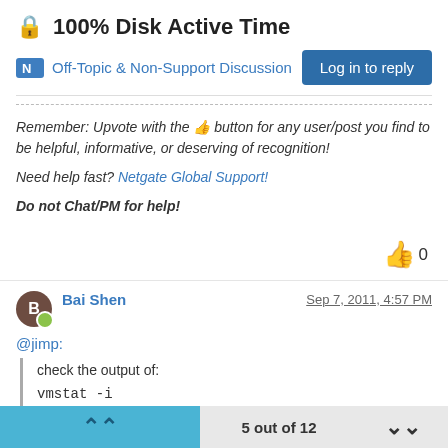100% Disk Active Time
Off-Topic & Non-Support Discussion
Log in to reply
Remember: Upvote with the 👍 button for any user/post you find to be helpful, informative, or deserving of recognition!
Need help fast? Netgate Global Support!
Do not Chat/PM for help!
0
Bai Shen
Sep 7, 2011, 4:57 PM
@jimp:
check the output of:
vmstat -i
5 out of 12